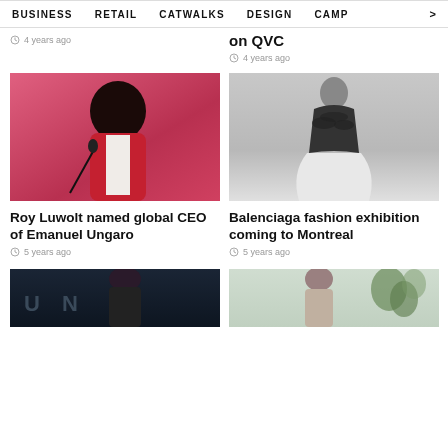BUSINESS   RETAIL   CATWALKS   DESIGN   CAMP >
on QVC
4 years ago
4 years ago
[Figure (photo): Man in red blazer speaking at podium with microphone, pink background]
[Figure (photo): Black and white photo of woman in ornate black bodice and full white skirt, viewed from behind]
Roy Luwolt named global CEO of Emanuel Ungaro
Balenciaga fashion exhibition coming to Montreal
5 years ago
5 years ago
[Figure (photo): Woman with dark hair against dark background, partial view]
[Figure (photo): Woman with plants in background, light colored setting]